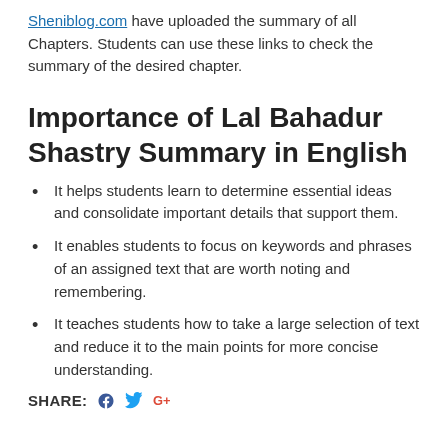Sheniblog.com have uploaded the summary of all Chapters. Students can use these links to check the summary of the desired chapter.
Importance of Lal Bahadur Shastry Summary in English
It helps students learn to determine essential ideas and consolidate important details that support them.
It enables students to focus on keywords and phrases of an assigned text that are worth noting and remembering.
It teaches students how to take a large selection of text and reduce it to the main points for more concise understanding.
SHARE: [Facebook] [Twitter] [Google+]